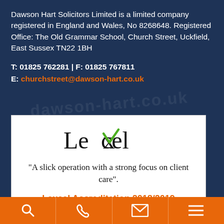Dawson Hart Solicitors Limited is a limited company registered in England and Wales, No 8268648. Registered Office: The Old Grammar School, Church Street, Uckfield, East Sussex TN22 1BH
T: 01825 762281 | F: 01825 767811
E: churchstreet@dawson-hart.co.uk
[Figure (logo): Lexcel accreditation logo and quote box. Shows 'Lexcel' logo with green checkmark, quote: 'A slick operation with a strong focus on client care', and text 'Lexcel Accreditation 2018/2019' in orange.]
Footer bar with search, phone, email, and menu icons